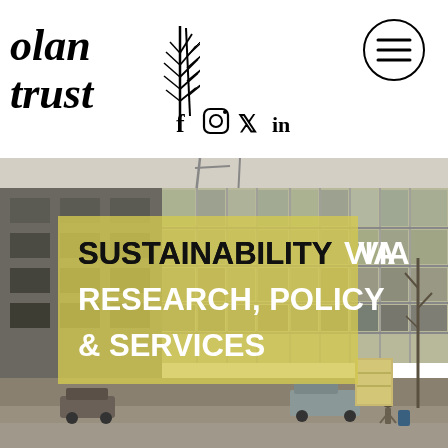[Figure (logo): Olan Trust logo with italic serif text 'olan trust' and a fern/leaf decorative element to the right]
[Figure (infographic): Social media icons: Facebook (f), Instagram (camera), Twitter (bird), LinkedIn (in)]
[Figure (infographic): Hamburger menu icon inside a circle]
[Figure (photo): Black and white / sepia photograph of a large multi-storey modernist concrete and glass building. Street level shows parked cars, a van, and a person walking. There is a yellow semi-transparent overlay banner on the photo with bold text.]
SUSTAINABILITY VIA RESEARCH, POLICY & SERVICES